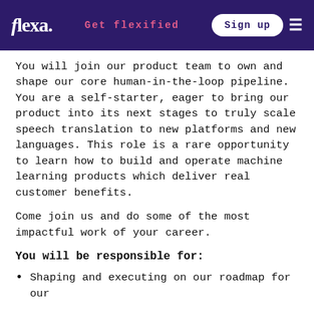flexa. | Get flexified | Sign up
You will join our product team to own and shape our core human-in-the-loop pipeline. You are a self-starter, eager to bring our product into its next stages to truly scale speech translation to new platforms and new languages. This role is a rare opportunity to learn how to build and operate machine learning products which deliver real customer benefits.
Come join us and do some of the most impactful work of your career.
You will be responsible for:
Shaping and executing on our roadmap for our